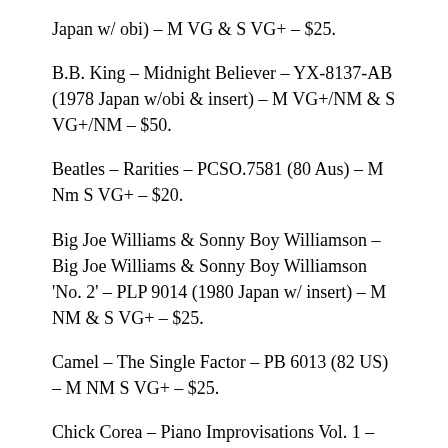Japan w/ obi) – M VG & S VG+ – $25.
B.B. King – Midnight Believer – YX-8137-AB (1978 Japan w/obi & insert) – M VG+/NM & S VG+/NM – $50.
Beatles – Rarities – PCSO.7581 (80 Aus) – M Nm S VG+ – $20.
Big Joe Williams & Sonny Boy Williamson  – Big Joe Williams & Sonny Boy Williamson 'No. 2' – PLP 9014 (1980 Japan w/ insert) – M NM & S VG+ – $25.
Camel – The Single Factor – PB 6013 (82 US) – M NM S VG+ – $25.
Chick Corea – Piano Improvisations Vol. 1 – MP 2223